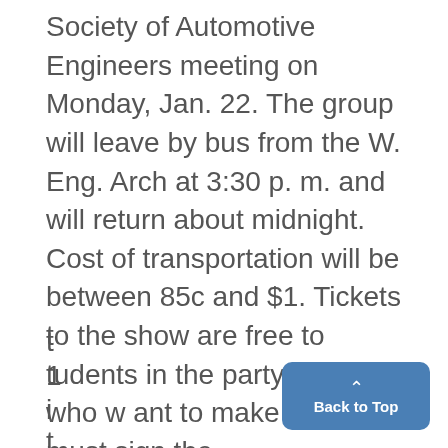Society of Automotive Engineers meeting on Monday, Jan. 22. The group will leave by bus from the W. Eng. Arch at 3:30 p. m. and will return about midnight. Cost of transportation will be between 85c and $1. Tickets to the show are free to tudents in the party. Those who w ant to make the trip must sign the
t
1
i
t